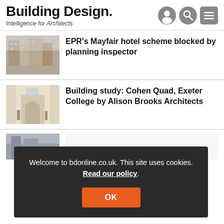Building Design. Intelligence for Architects
EPR's Mayfair hotel scheme blocked by planning inspector
Building study: Cohen Quad, Exeter College by Alison Brooks Architects
Welcome to bdonline.co.uk. This site uses cookies. Read our policy.
OK